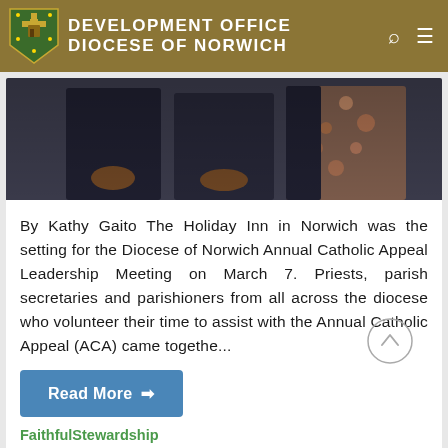Development Office Diocese of Norwich
[Figure (photo): Photo showing torsos and hands of people in formal dark suits at an event, with a floral-patterned garment visible on the right side.]
By Kathy Gaito The Holiday Inn in Norwich was the setting for the Diocese of Norwich Annual Catholic Appeal Leadership Meeting on March 7. Priests, parish secretaries and parishioners from all across the diocese who volunteer their time to assist with the Annual Catholic Appeal (ACA) came togethe...
Read More →
FaithfulStewardship